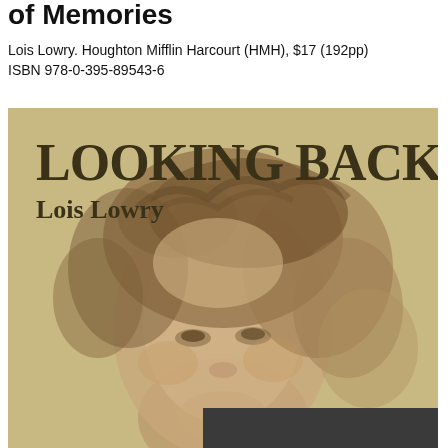of Memories
Lois Lowry. Houghton Mifflin Harcourt (HMH), $17 (192pp)
ISBN 978-0-395-89543-6
[Figure (illustration): Book cover of 'Looking Back' by Lois Lowry. Sepia-toned cover with large text 'LOOKING BACK' at top, 'Lois Lowry' below it, and a vintage sepia portrait photograph of a young woman with soft curled hair filling most of the cover. A dark gray/black band appears at the bottom right.]